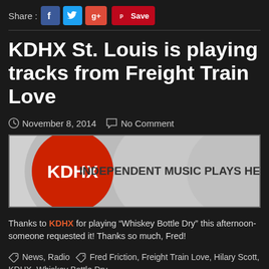Share : [Facebook] [Twitter] [Google+] [Pinterest Save]
KDHX St. Louis is playing tracks from Freight Train Love
November 8, 2014   No Comment
[Figure (logo): KDHX radio logo banner: red circle with white text KDHX, tagline INDEPENDENT MUSIC PLAYS HERE on grey circle background]
Thanks to KDHX for playing “Whiskey Bottle Dry” this afternoon- someone requested it! Thanks so much, Fred!
News, Radio   Fred Friction, Freight Train Love, Hilary Scott, KDHX, Whiskey Bottle Dry